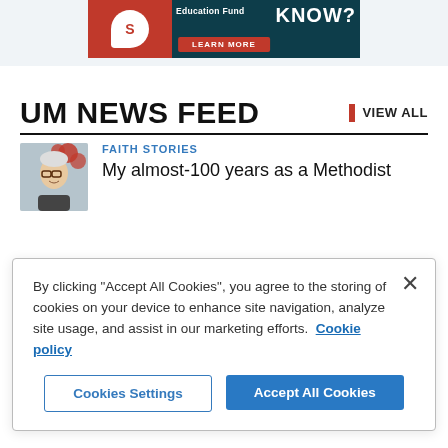[Figure (screenshot): Advertisement banner for Education Fund with dark teal background, red logo panel on left, 'KNOW?' text on right, and 'LEARN MORE' red button]
UM NEWS FEED
VIEW ALL
[Figure (photo): Thumbnail photo of elderly man with glasses, white hair, red flowers in background]
FAITH STORIES
My almost-100 years as a Methodist
By clicking "Accept All Cookies", you agree to the storing of cookies on your device to enhance site navigation, analyze site usage, and assist in our marketing efforts.  Cookie policy
Cookies Settings
Accept All Cookies